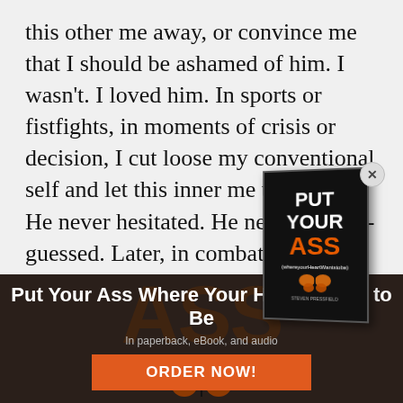this other me away, or convince me that I should be ashamed of him. I wasn't. I loved him. In sports or fistfights, in moments of crisis or decision, I cut loose my conventional self and let this inner me take over. He never hesitated. He never second-guessed. Later, in combat, when I began to experience fragments of recall that were clearly not from this [lifetime], I knew at once that these memories were connected to my secret self.
[Figure (illustration): Book cover popup for 'Put Your Ass Where Your Heart Wants to Be' showing a black book cover with butterfly illustration and a close/dismiss button]
[Figure (photo): Dark background advertisement section with large faded text reading 'ASS (whereyourHeartWantstobe)' with butterfly graphic overlay]
Put Your Ass Where Your Heart Wants to Be
In paperback, eBook, and audio
ORDER NOW!